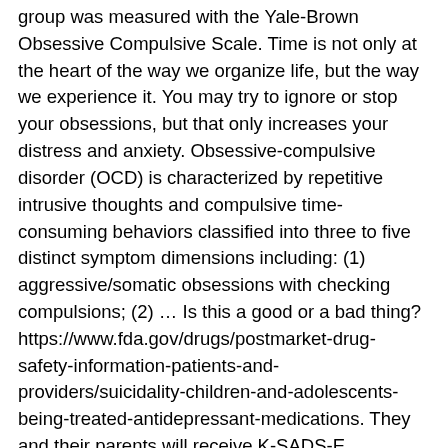group was measured with the Yale-Brown Obsessive Compulsive Scale. Time is not only at the heart of the way we organize life, but the way we experience it. You may try to ignore or stop your obsessions, but that only increases your distress and anxiety. Obsessive-compulsive disorder (OCD) is characterized by repetitive intrusive thoughts and compulsive time-consuming behaviors classified into three to five distinct symptom dimensions including: (1) aggressive/somatic obsessions with checking compulsions; (2) … Is this a good or a bad thing? https://www.fda.gov/drugs/postmarket-drug-safety-information-patients-and-providers/suicidality-children-and-adolescents-being-treated-antidepressant-medications. They and their parents will receive K-SADS-E interviews. OCD thoughts aren't simply excessive worries about real problems in your life or liking to have things clean or arranged in a specific way. 16 Things You Should Know The Next Time You Say, "I'm So OCD" ... and urges symptomatic of obsessive compulsive disorder, ... "The circuit is responsible for perception … People